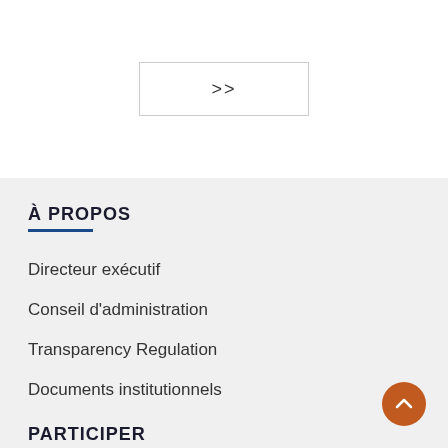[Figure (other): Navigation button with double chevron '>>' symbol, white background with gray border]
À PROPOS
Directeur exécutif
Conseil d'administration
Transparency Regulation
Documents institutionnels
PARTICIPER